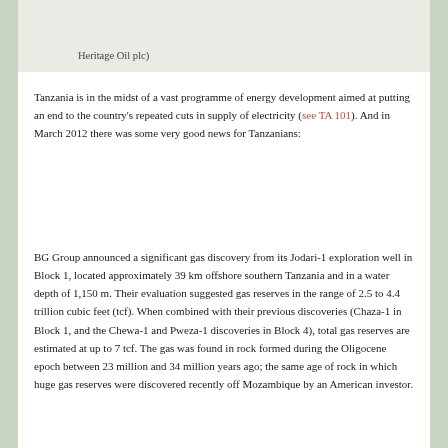Heritage Oil plc)
Tanzania is in the midst of a vast programme of energy development aimed at putting an end to the country's repeated cuts in supply of electricity (see TA 101). And in March 2012 there was some very good news for Tanzanians:
BG Group announced a significant gas discovery from its Jodari-1 exploration well in Block 1, located approximately 39 km offshore southern Tanzania and in a water depth of 1,150 m. Their evaluation suggested gas reserves in the range of 2.5 to 4.4 trillion cubic feet (tcf). When combined with their previous discoveries (Chaza-1 in Block 1, and the Chewa-1 and Pweza-1 discoveries in Block 4), total gas reserves are estimated at up to 7 tcf. The gas was found in rock formed during the Oligocene epoch between 23 million and 34 million years ago; the same age of rock in which huge gas reserves were discovered recently off Mozambique by an American investor.